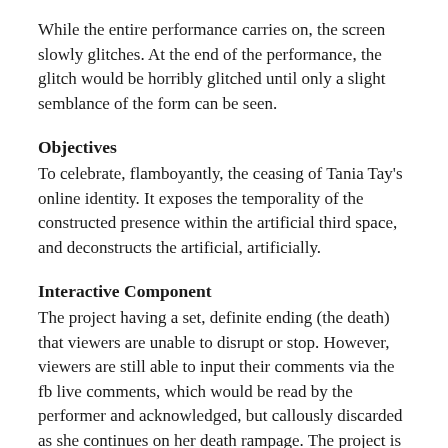While the entire performance carries on, the screen slowly glitches. At the end of the performance, the glitch would be horribly glitched until only a slight semblance of the form can be seen.
Objectives
To celebrate, flamboyantly, the ceasing of Tania Tay's online identity. It exposes the temporality of the constructed presence within the artificial third space, and deconstructs the artificial, artificially.
Interactive Component
The project having a set, definite ending (the death) that viewers are unable to disrupt or stop. However, viewers are still able to input their comments via the fb live comments, which would be read by the performer and acknowledged, but callously discarded as she continues on her death rampage. The project is a strong statement of the artificiality,